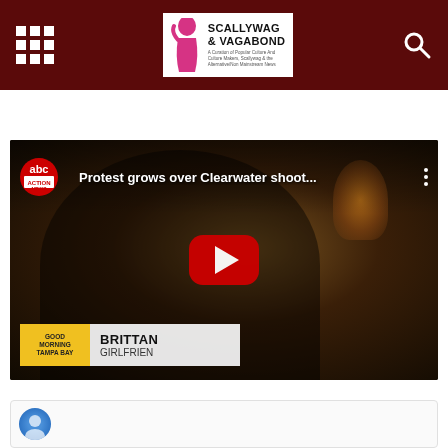Scallywag & Vagabond
[Figure (screenshot): YouTube video thumbnail embedded on webpage showing ABC Action News video titled 'Protest grows over Clearwater shoot...' with a young Black woman being interviewed, ABC Action News logo top left, play button in center, lower-third chyron reading 'Good Morning Tampa Bay | BRITTAN / GIRLFRIEN']
[Figure (screenshot): Partial comment section preview at bottom with circular avatar icon on the left]